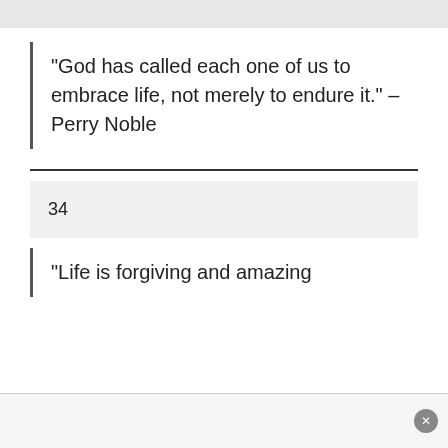“God has called each one of us to embrace life, not merely to endure it.” – Perry Noble
34
“Life is forgiving and amazing